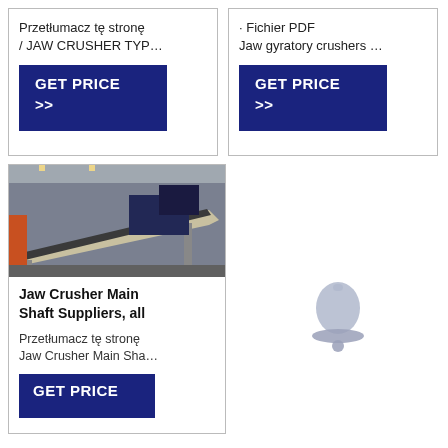Przetłumacz tę stronę / JAW CRUSHER TYP…
[Figure (screenshot): GET PRICE >> button (dark navy blue background, white text)]
· Fichier PDF Jaw gyratory crushers …
[Figure (screenshot): GET PRICE >> button (dark navy blue background, white text)]
[Figure (photo): Industrial conveyor or crusher equipment inside a factory/warehouse]
Jaw Crusher Main Shaft Suppliers, all
Przetłumacz tę stronę Jaw Crusher Main Sha…
[Figure (screenshot): GET PRICE button (dark navy blue background, white text)]
[Figure (illustration): Notification bell icon, light grey/lavender color]